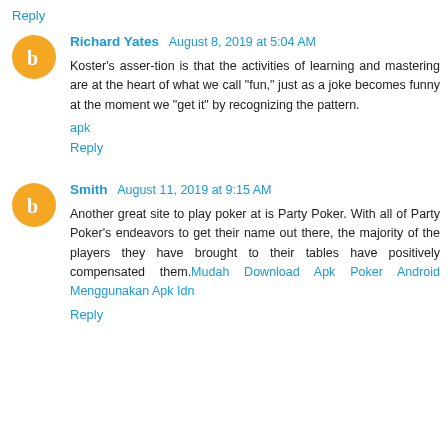Reply
Richard Yates  August 8, 2019 at 5:04 AM
Koster's asser-tion is that the activities of learning and mastering are at the heart of what we call "fun," just as a joke becomes funny at the moment we "get it" by recognizing the pattern.
apk
Reply
Smith  August 11, 2019 at 9:15 AM
Another great site to play poker at is Party Poker. With all of Party Poker's endeavors to get their name out there, the majority of the players they have brought to their tables have positively compensated them.Mudah Download Apk Poker Android Menggunakan Apk Idn
Reply